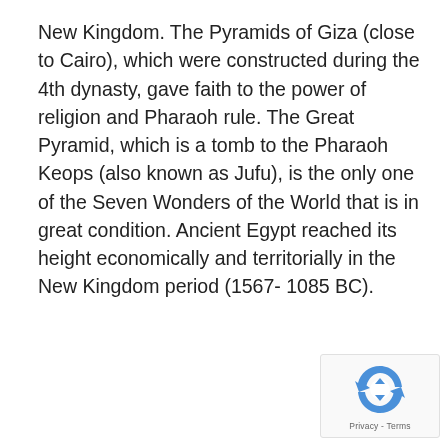New Kingdom. The Pyramids of Giza (close to Cairo), which were constructed during the 4th dynasty, gave faith to the power of religion and Pharaoh rule. The Great Pyramid, which is a tomb to the Pharaoh Keops (also known as Jufu), is the only one of the Seven Wonders of the World that is in great condition. Ancient Egypt reached its height economically and territorially in the New Kingdom period (1567- 1085 BC).
[Figure (logo): reCAPTCHA logo with Privacy and Terms links]